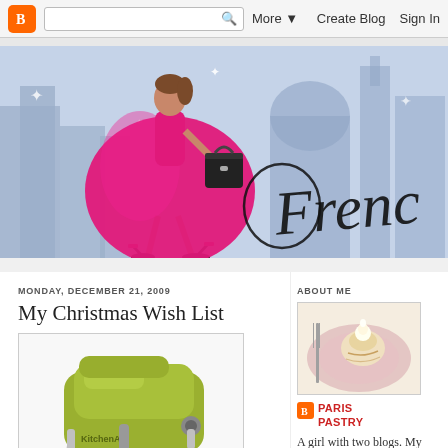Blogger navigation bar with logo, search box, More, Create Blog, Sign In
[Figure (illustration): Blog header banner: illustration of a stylish woman in a bright pink/magenta full skirt and black high heels carrying a black handbag, walking against a blue-grey city skyline background with sparkles. Cursive text reading 'Frenc' (partially visible) on the right.]
MONDAY, DECEMBER 21, 2009
My Christmas Wish List
[Figure (photo): Photo of a lime green KitchenAid stand mixer, showing the head and bowl, with 'KitchenAid' text visible on the front.]
ABOUT ME
[Figure (photo): A small circular pastry or cream puff on a plate, photographed from above.]
PARIS PASTRY
A girl with two blogs. My food